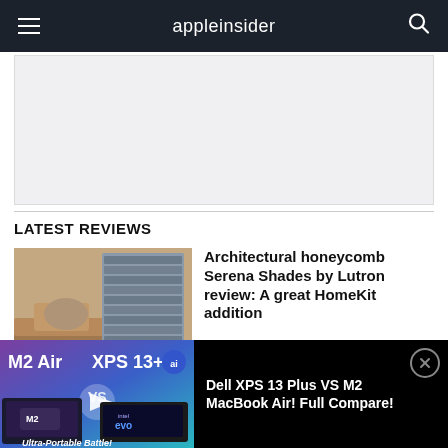appleinsider
[Figure (other): Grey advertisement banner placeholder]
LATEST REVIEWS
[Figure (photo): Window blind / honeycomb shade product photo showing architectural shades on a window with a couch nearby]
Architectural honeycomb Serena Shades by Lutron review: A great HomeKit addition
[Figure (screenshot): Bottom ad banner showing M2 Air vs XPS 13+ comparison video thumbnail with text 'Dell XPS 13 Plus VS M2 MacBook Air! Full Compare!']